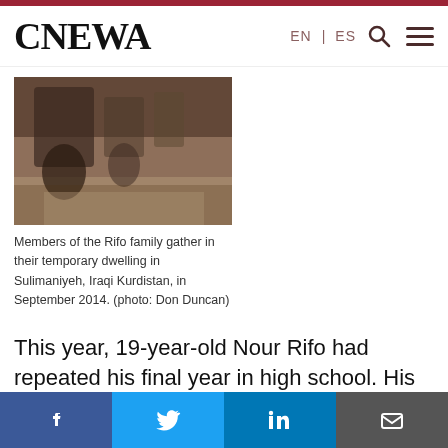CNEWA  EN | ES
[Figure (photo): Members of the Rifo family gathered in their temporary dwelling, sitting on a tiled floor. Photo taken in Sulimaniyeh, Iraqi Kurdistan in September 2014.]
Members of the Rifo family gather in their temporary dwelling in Sulimaniyeh, Iraqi Kurdistan, in September 2014. (photo: Don Duncan)
This year, 19-year-old Nour Rifo had repeated his final year in high school. His overall result on the state exam last year was 82 percent, and Mr. Rifo...